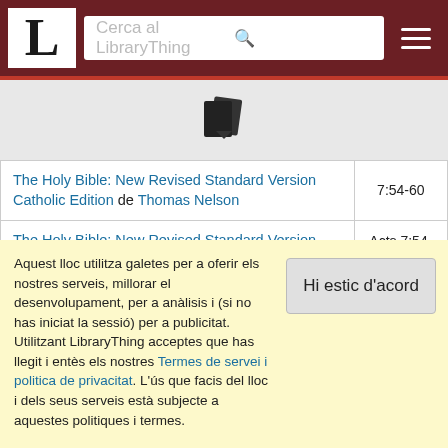LibraryThing – search bar header
[Figure (other): Book/document icon with a small arrow, on gray background]
| Title / Author | Reference |
| --- | --- |
| The Holy Bible: New Revised Standard Version Catholic Edition de Thomas Nelson | 7:54-60 |
| The Holy Bible: New Revised Standard Version with Apocrypha de Bruce M. Metzger | Acts 7:54-60 |
| Holy Bible: Reference Bible with Concordance (New American Standard Bible) de The Lockman Foundation | Acts 7:54-60 |
Aquest lloc utilitza galetes per a oferir els nostres serveis, millorar el desenvolupament, per a anàlisis i (si no has iniciat la sessió) per a publicitat. Utilitzant LibraryThing acceptes que has llegit i entès els nostres Termes de servei i politica de privacitat. L'ús que facis del lloc i dels seus serveis està subjecte a aquestes politiques i termes.